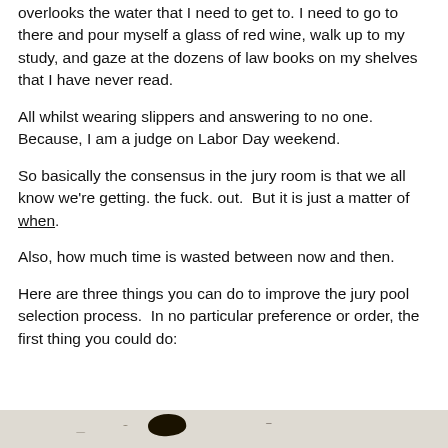overlooks the water that I need to get to.  I need to go to there and pour myself a glass of red wine, walk up to my study, and gaze at the dozens of law books on my shelves that I have never read.
All whilst wearing slippers and answering to no one.  Because, I am a judge on Labor Day weekend.
So basically the consensus in the jury room is that we all know we're getting. the fuck. out.  But it is just a matter of when.
Also, how much time is wasted between now and then.
Here are three things you can do to improve the jury pool selection process.  In no particular preference or order, the first thing you could do:
[Figure (photo): Partially visible photograph at the bottom of the page, showing an outdoor scene, partially cropped.]